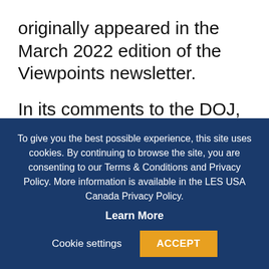originally appeared in the March 2022 edition of the Viewpoints newsletter.
In its comments to the DOJ, LES urged that innovation and economic growth are best served by agency guidance that balances the interests of both innovator and implementer and provides the business community with continuity and consistency. LES stated that the existing guidance
To give you the best possible experience, this site uses cookies. By continuing to browse the site, you are consenting to our Terms & Conditions and Privacy Policy. More information is available in the LES USA Canada Privacy Policy.
Learn More
Cookie settings
ACCEPT